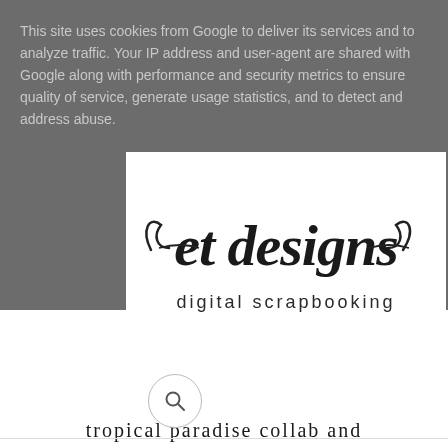This site uses cookies from Google to deliver its services and to analyze traffic. Your IP address and user-agent are shared with Google along with performance and security metrics to ensure quality of service, generate usage statistics, and to detect and address abuse.
[Figure (logo): et designs digital scrapbooking logo — cursive script text reading 'et designs' with decorative flourishes, and below it 'digital scrapbooking' in a lighter sans-serif font]
[Figure (other): Search icon button — circular button with a magnifying glass icon]
tropical paradise collab and